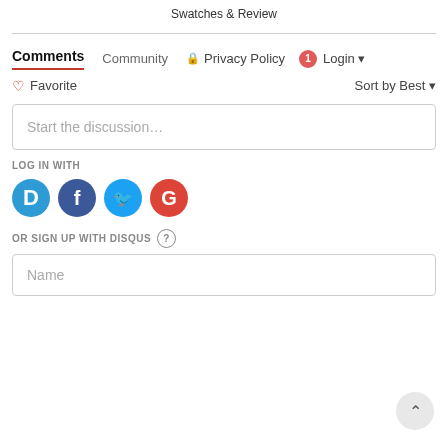Swatches & Review
Comments  Community  Privacy Policy  1  Login
Favorite  Sort by Best
Start the discussion…
LOG IN WITH
[Figure (other): Social login icons: Disqus (D), Facebook (f), Twitter bird, Google (G)]
OR SIGN UP WITH DISQUS ?
Name